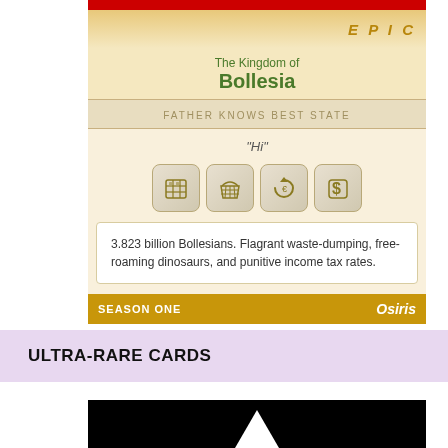The Kingdom of Bollesia
FATHER KNOWS BEST STATE
“Hi”
[Figure (illustration): Four icon buttons with olive/gold game icons: a building/grid icon, a basket icon, a circular arrow/recycle icon, and a dollar sign icon]
3.823 billion Bollesians. Flagrant waste-dumping, free-roaming dinosaurs, and punitive income tax rates.
SEASON ONE
Osiris
ULTRA-RARE CARDS
[Figure (illustration): Bottom portion of a dark/black card with a white triangle/mountain logo visible at the bottom]